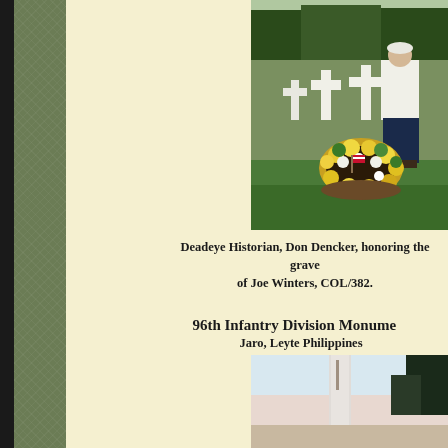[Figure (photo): Man in white shirt and cap standing next to a white cross grave marker with a large yellow and white flower wreath at a military cemetery, trees visible in background]
Deadeye Historian, Don Dencker, honoring the grave of Joe Winters, COL/382.
96th Infantry Division Monument
Jaro, Leyte Philippines
[Figure (photo): Partial view of the 96th Infantry Division Monument in Jaro, Leyte Philippines]